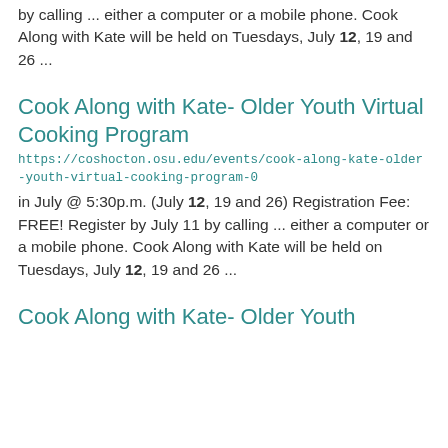by calling ... either a computer or a mobile phone.  Cook Along with Kate  will be held on Tuesdays, July 12, 19 and 26 ...
Cook Along with Kate- Older Youth Virtual Cooking Program
https://coshocton.osu.edu/events/cook-along-kate-older-youth-virtual-cooking-program-0
in July @ 5:30p.m. (July 12, 19 and 26) Registration Fee: FREE! Register by July 11 by calling ... either a computer or a mobile phone.  Cook Along with Kate  will be held on Tuesdays, July 12, 19 and 26 ...
Cook Along with Kate- Older Youth